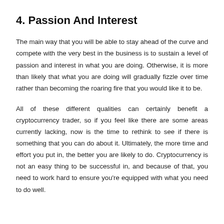4. Passion And Interest
The main way that you will be able to stay ahead of the curve and compete with the very best in the business is to sustain a level of passion and interest in what you are doing. Otherwise, it is more than likely that what you are doing will gradually fizzle over time rather than becoming the roaring fire that you would like it to be.
All of these different qualities can certainly benefit a cryptocurrency trader, so if you feel like there are some areas currently lacking, now is the time to rethink to see if there is something that you can do about it. Ultimately, the more time and effort you put in, the better you are likely to do. Cryptocurrency is not an easy thing to be successful in, and because of that, you need to work hard to ensure you're equipped with what you need to do well.